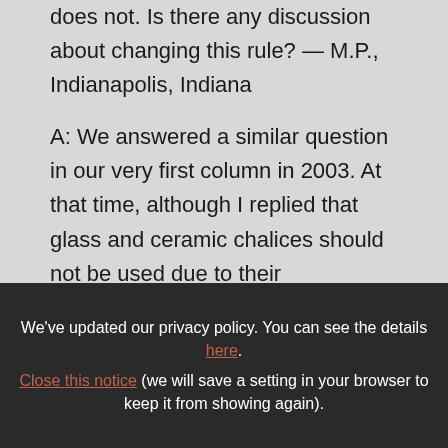does not. Is there any discussion about changing this rule? — M.P., Indianapolis, Indiana
A: We answered a similar question in our very first column in 2003. At that time, although I replied that glass and ceramic chalices should not be used due to their breakability, I suggested that the law at the time was not totally clear. This issue was later resolved by the 2005 instruction Redemptionis
We've updated our privacy policy. You can see the details here. Close this notice (we will save a setting in your browser to keep it from showing again).